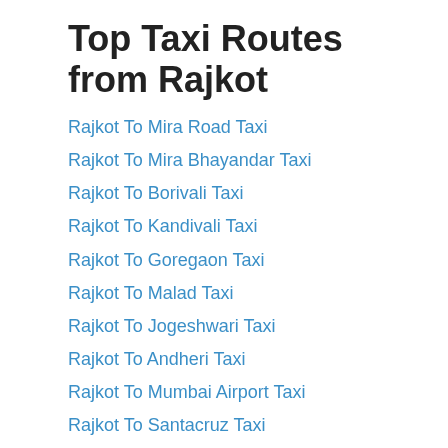Top Taxi Routes from Rajkot
Rajkot To Mira Road Taxi
Rajkot To Mira Bhayandar Taxi
Rajkot To Borivali Taxi
Rajkot To Kandivali Taxi
Rajkot To Goregaon Taxi
Rajkot To Malad Taxi
Rajkot To Jogeshwari Taxi
Rajkot To Andheri Taxi
Rajkot To Mumbai Airport Taxi
Rajkot To Santacruz Taxi
Top Taxi Routes from Vikhroli
Vikhroli To Adarsh Nagar Taxi
Vikhroli To Banner Taxi